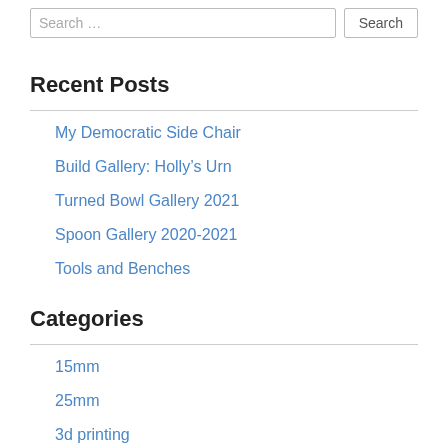Recent Posts
My Democratic Side Chair
Build Gallery: Holly's Urn
Turned Bowl Gallery 2021
Spoon Gallery 2020-2021
Tools and Benches
Categories
15mm
25mm
3d printing